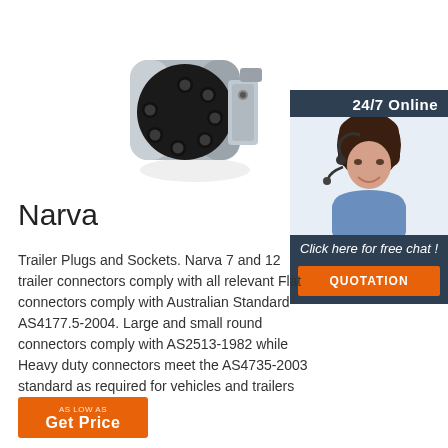[Figure (photo): Silver metal trailer plug/connector with black circular face showing 7 pin holes, viewed from the front at an angle]
[Figure (photo): Sidebar widget showing a woman with headset smiling, with '24/7 Online' header, 'Click here for free chat!' text, and orange QUOTATION button]
Narva
Trailer Plugs and Sockets. Narva 7 and 12 trailer connectors comply with all relevant Flat connectors comply with Australian Standard AS4177.5-2004. Large and small round connectors comply with AS2513-1982 while Heavy duty connectors meet the AS4735-2003 standard as required for vehicles and trailers over 3.5 tonnes.
[Figure (other): Orange 'Get Price' button at bottom left]